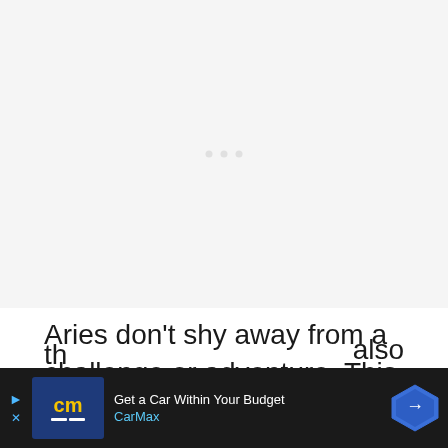[Figure (other): Large light gray placeholder image area with three small light gray dots centered in the middle]
Aries don't shy away from a challenge or adventure. This trait will be a great fit for careers th... also be... fit their
[Figure (other): CarMax advertisement banner: Get a Car Within Your Budget - CarMax, with navigation sign icon and CarMax logo]